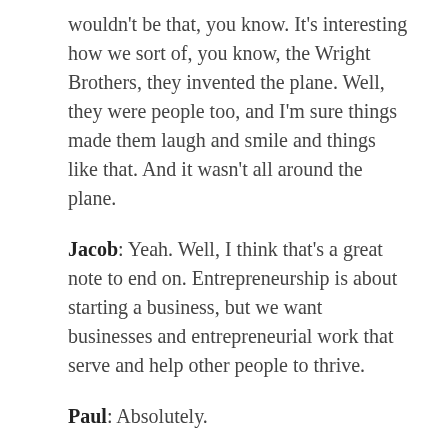wouldn't be that, you know. It's interesting how we sort of, you know, the Wright Brothers, they invented the plane. Well, they were people too, and I'm sure things made them laugh and smile and things like that. And it wasn't all around the plane.
Jacob: Yeah. Well, I think that's a great note to end on. Entrepreneurship is about starting a business, but we want businesses and entrepreneurial work that serve and help other people to thrive.
Paul: Absolutely.
Jacob: Thank you for listening to this episode of The Edge of Innovation, hacking the future of business. I hope that this was helpful for you. We'd love to hear from you if you have any questions, or if you have any comments. Please visit us at Paul Parisi.com where you